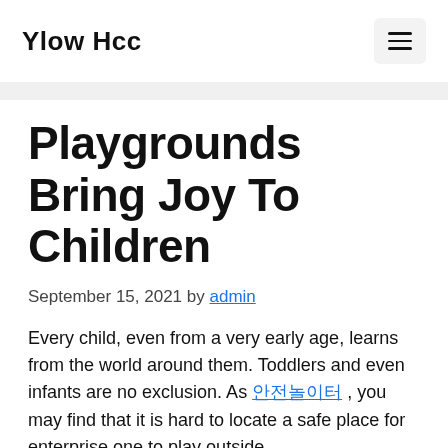Ylow Hcc
Playgrounds Bring Joy To Children
September 15, 2021 by admin
Every child, even from a very early age, learns from the world around them. Toddlers and even infants are no exclusion. As 안전놀이터 , you may find that it is hard to locate a safe place for enterprise one to play outside.